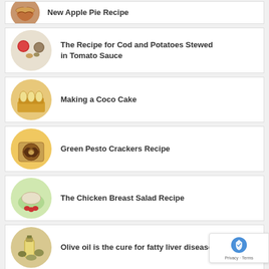New Apple Pie Recipe
The Recipe for Cod and Potatoes Stewed in Tomato Sauce
Making a Coco Cake
Green Pesto Crackers Recipe
The Chicken Breast Salad Recipe
Olive oil is the cure for fatty liver disease
[Figure (screenshot): reCAPTCHA Privacy - Terms badge in bottom right corner]